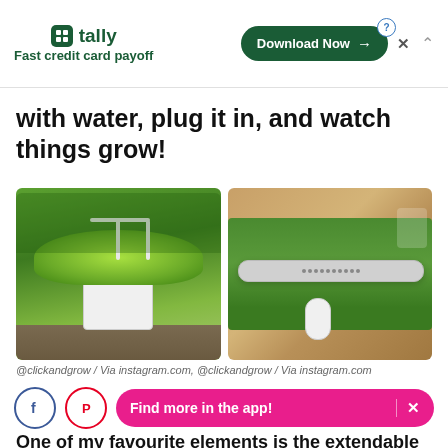[Figure (screenshot): Advertisement banner for Tally app: logo with green icon, text 'Fast credit card payoff', green Download Now button with question mark icon and X close button, and chevron up arrow.]
with water, plug it in, and watch things grow!
[Figure (photo): Two side-by-side photos from @clickandgrow via instagram.com. Left photo shows a white Click & Grow smart garden unit with lush green lettuce growing outdoors. Right photo shows a white LED grow light bar over green plants on a wooden surface.]
@clickandgrow / Via instagram.com, @clickandgrow / Via instagram.com
[Figure (screenshot): Bottom action bar with Facebook and Pinterest share buttons, and a pink 'Find more in the app!' button with X dismiss icon.]
One of my favourite elements is the extendable lamp